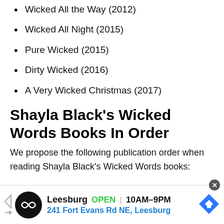Wicked All the Way (2012)
Wicked All Night (2015)
Pure Wicked (2015)
Dirty Wicked (2016)
A Very Wicked Christmas (2017)
Shayla Black's Wicked Words Books In Order
We propose the following publication order when reading Shayla Black's Wicked Words books:
[Figure (other): Advertisement banner for a store in Leesburg showing logo, OPEN status, hours 10AM-9PM, and address 241 Fort Evans Rd NE, Leesburg]